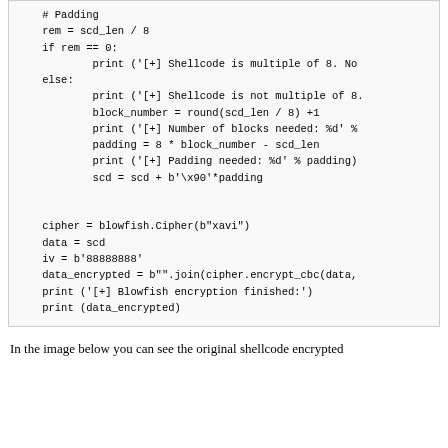[Figure (screenshot): Code block showing Python shellcode padding and blowfish encryption logic]
In the image below you can see the original shellcode encrypted